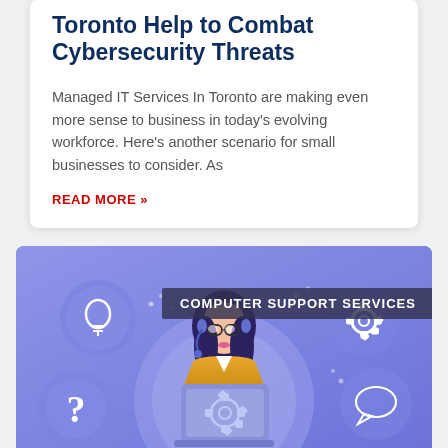Toronto Help to Combat Cybersecurity Threats
Managed IT Services In Toronto are making even more sense to business in today's evolving workforce. Here's another scenario for small businesses to consider. As
READ MORE »
[Figure (illustration): Illustration of a female customer support agent with glasses and headset, sitting behind a laptop showing a gear icon. Surrounding her are circular icons with a lightbulb, question mark, gear, and speech bubble on a purple/blue gradient background. Text overlay reads 'COMPUTER SUPPORT SERVICES'.]